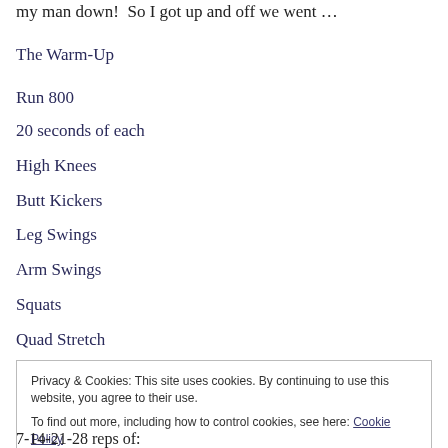my man down!  So I got up and off we went …
The Warm-Up
Run 800
20 seconds of each
High Knees
Butt Kickers
Leg Swings
Arm Swings
Squats
Quad Stretch
Privacy & Cookies: This site uses cookies. By continuing to use this website, you agree to their use.
To find out more, including how to control cookies, see here: Cookie Policy
Close and accept
7-14-21-28 reps of: